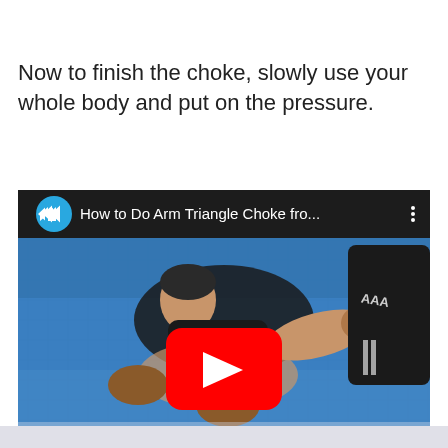Now to finish the choke, slowly use your whole body and put on the pressure.
[Figure (screenshot): YouTube video thumbnail showing two martial artists performing an arm triangle choke on a blue mat. Title bar reads 'How to Do Arm Triangle Choke fro...' with a YouTube play button overlay. A blue circular arrow logo is visible in the top-left of the video player.]